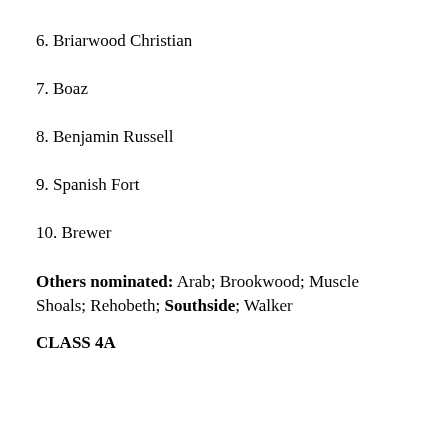6. Briarwood Christian
7. Boaz
8. Benjamin Russell
9. Spanish Fort
10. Brewer
Others nominated: Arab; Brookwood; Muscle Shoals; Rehobeth; Southside; Walker
CLASS 4A